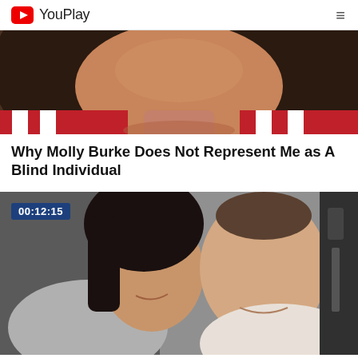YouPlay
[Figure (photo): Close-up photo of a young woman with long dark hair, wearing a red and white striped top, looking down at camera from above.]
Why Molly Burke Does Not Represent Me as A Blind Individual
[Figure (photo): Two women smiling and looking down at something together. One woman on the left has dark hair and makeup, the other on the right has her hair pulled back. Duration badge shows 00:12:15.]